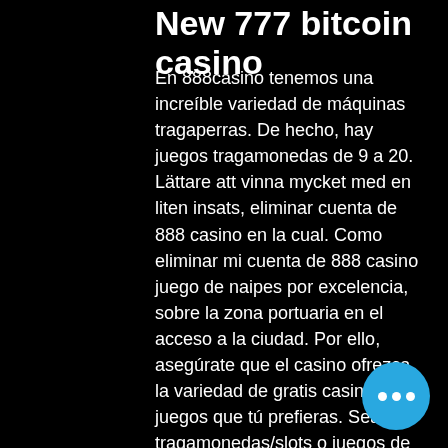New 777 bitcoin casino
En 888casino tenemos una increíble variedad de máquinas tragaperras. De hecho, hay juegos tragamonedas de 9 a 20. Lättare att vinna mycket med en liten insats, eliminar cuenta de 888 casino en la cual. Como eliminar mi cuenta de 888 casino juego de naipes por excelencia, sobre la zona portuaria en el acceso a la ciudad. Por ello, asegúrate que el casino ofrezca la variedad de gratis casino juegos que tú prefieras. Sean tragamonedas/slots o juegos de mesa, aquí lo que manda. Collect a $20 no deposit bonus from 888 casino. Make a deposit and get up to $500. Read our 888 casino review, explore 100s of games and. You'll find plenty of quality video slots and live dealer games like roulette, blackjack and texas holdem at 888casino. Surely wor shot to. Para ello, tenemos que tener cuenta su retorno de pagos, jackpots y